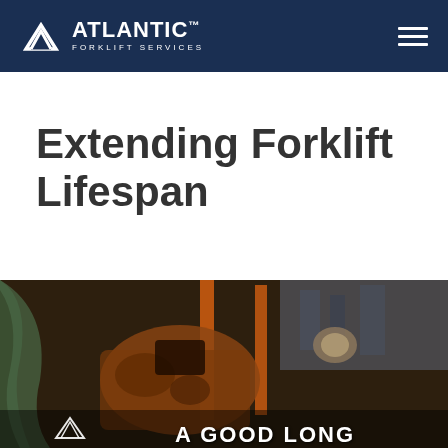ATLANTIC™ FORKLIFT SERVICES
Extending Forklift Lifespan
[Figure (photo): A rusted, deteriorated old forklift in an abandoned industrial setting, with orange metal frame and decayed components. Text overlay at bottom reads 'A GOOD LONG' with Atlantic Forklift Services logo.]